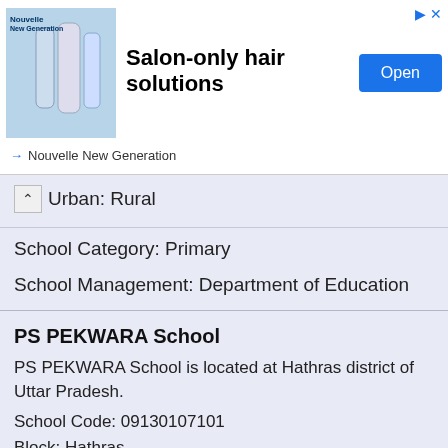[Figure (screenshot): Advertisement banner for Nouvelle New Generation salon hair solutions with blue hair product bottles image, bold title 'Salon-only hair solutions', blue 'Open' button, and skip arrow icons]
Rural/Urban: Rural
School Category: Primary
School Management: Department of Education
PS PEKWARA School
PS PEKWARA School is located at Hathras district of Uttar Pradesh.
School Code: 09130107101
Block: Hathras
Panchayat/Village/Muncipality/Corporation/Town: PEKWARA
Rural/Urban: Rural